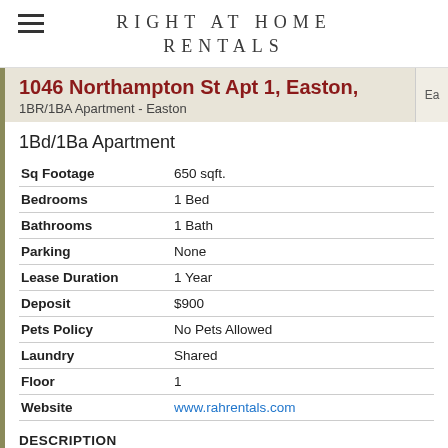RIGHT AT HOME RENTALS
1046 Northampton St Apt 1, Easton,
1BR/1BA Apartment - Easton
1Bd/1Ba Apartment
| Field | Value |
| --- | --- |
| Sq Footage | 650 sqft. |
| Bedrooms | 1 Bed |
| Bathrooms | 1 Bath |
| Parking | None |
| Lease Duration | 1 Year |
| Deposit | $900 |
| Pets Policy | No Pets Allowed |
| Laundry | Shared |
| Floor | 1 |
| Website | www.rahrentals.com |
DESCRIPTION
Ground floor 1 bedroom apartment with wood floors, fresh paint, gas or electric heat, and large shared yard.